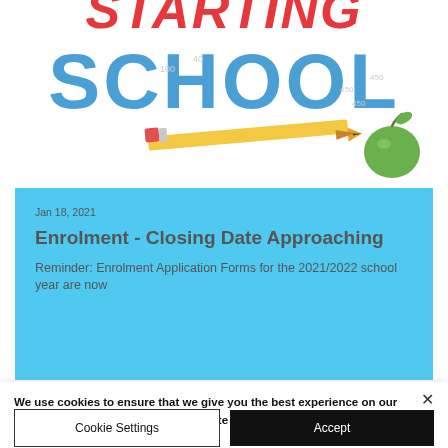[Figure (illustration): Cartoon-style school illustration with bold text 'STARTING SCHOOL' in red and blue letters, a pencil, and a green apple]
Jan 18, 2021
Enrolment - Closing Date Approaching
Reminder: Enrolment Application Forms for the 2021/2022 school year are now
We use cookies to ensure that we give you the best experience on our website. If you continue to use this site we will assume that you are happy with it. See Privacy Policy
Cookie Settings
Accept